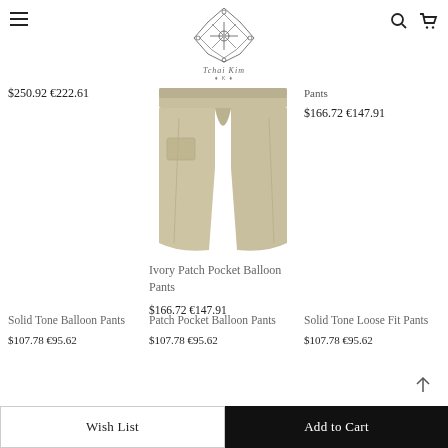Navigation header with hamburger menu, Tchai Kim logo, search and cart icons
$250.92 €222.61
Pants
$166.72 €147.91
[Figure (photo): Ivory Patch Pocket Balloon Pants product photo showing khaki/beige wide-leg trousers]
Ivory Patch Pocket Balloon Pants
$166.72 €147.91
Solid Tone Balloon Pants
$107.78 €95.62
Patch Pocket Balloon Pants
$107.78 €95.62
Solid Tone Loose Fit Pants
$107.78 €95.62
Wish List | Add to Cart